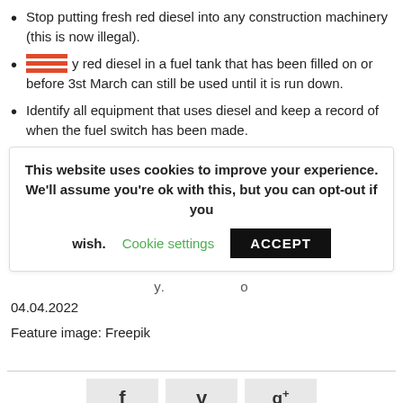Stop putting fresh red diesel into any construction machinery (this is now illegal).
Any red diesel in a fuel tank that has been filled on or before 3st March can still be used until it is run down.
Identify all equipment that uses diesel and keep a record of when the fuel switch has been made.
This website uses cookies to improve your experience. We'll assume you're ok with this, but you can opt-out if you wish. Cookie settings ACCEPT
04.04.2022
Feature image: Freepik